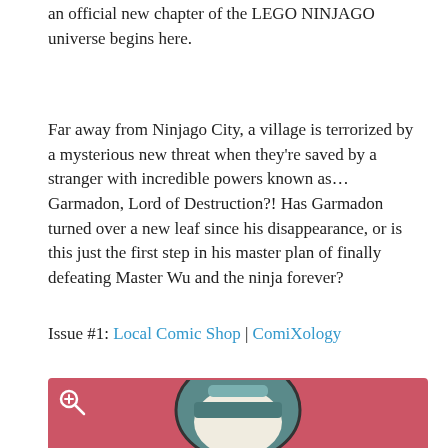an official new chapter of the LEGO NINJAGO universe begins here.
Far away from Ninjago City, a village is terrorized by a mysterious new threat when they're saved by a stranger with incredible powers known as… Garmadon, Lord of Destruction?! Has Garmadon turned over a new leaf since his disappearance, or is this just the first step in his master plan of finally defeating Master Wu and the ninja forever?
Issue #1: Local Comic Shop | ComiXology
[Figure (illustration): A pink/red background image showing the top portion of a LEGO character with a teal/grey helmet, with a zoom icon in the top left corner.]